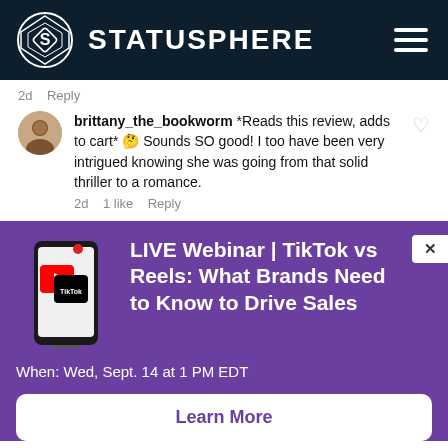STATUSPHERE
2d   Reply
brittany_the_bookworm *Reads this review, adds to cart* 🤔 Sounds SO good! I too have been very intrigued knowing she was going from that solid thriller to a romance.
2d   1 like   Reply
[Figure (infographic): Purple promotional banner for a live webinar. Shows a phone graphic with YouTube and TikTok logos. Title: LIVE Webinar | TikTok vs Reels: What Brands Need to Know to Drive Sales. When: Wed, Sept. 14 at 1 PM EDT. Learn More button.]
LIVE Webinar | TikTok vs Reels: What Brands Need to Know to Drive Sales
When: Wed, Sept. 14 at 1 PM EDT
Learn More